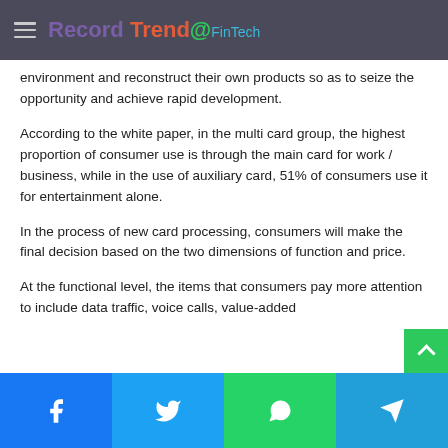Record Trend FinTech
environment and reconstruct their own products so as to seize the opportunity and achieve rapid development.
According to the white paper, in the multi card group, the highest proportion of consumer use is through the main card for work / business, while in the use of auxiliary card, 51% of consumers use it for entertainment alone.
In the process of new card processing, consumers will make the final decision based on the two dimensions of function and price.
At the functional level, the items that consumers pay more attention to include data traffic, voice calls, value-added